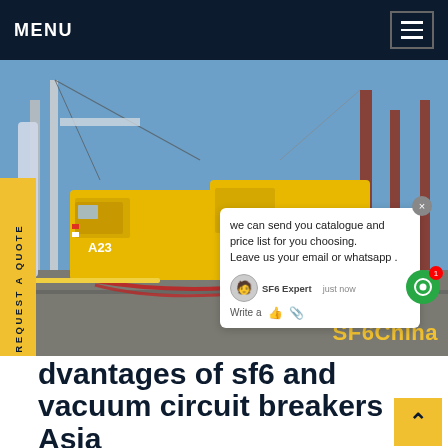MENU
[Figure (photo): Industrial scene with yellow service trucks labeled A23 and S2E at an electrical substation with cranes and steel structures in the background. A chat popup overlay shows text 'we can send you catalogue and price list for you choosing. Leave us your email or whatsapp.' with SF6 Expert agent branding and SF6China watermark.]
dvantages of sf6 and vacuum circuit breakers Asia